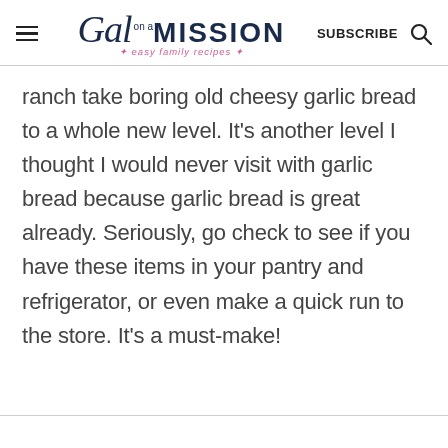Gal on a MISSION — easy family recipes — SUBSCRIBE
ranch take boring old cheesy garlic bread to a whole new level. It's another level I thought I would never visit with garlic bread because garlic bread is great already. Seriously, go check to see if you have these items in your pantry and refrigerator, or even make a quick run to the store. It's a must-make!